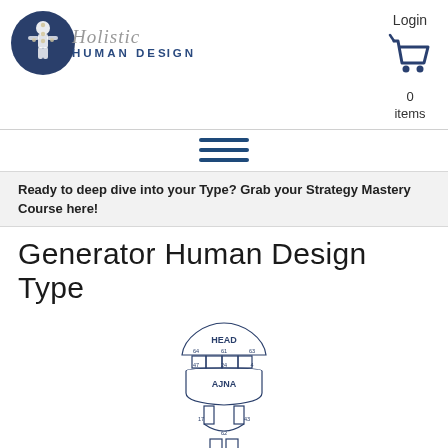[Figure (logo): Holistic Human Design logo with dark blue circle containing a human figure with chakra dots, script text 'Holistic' and bold uppercase 'HUMAN DESIGN']
Login
[Figure (illustration): Dark blue shopping cart icon with 0 items]
[Figure (illustration): Hamburger menu icon with three horizontal dark blue lines]
Ready to deep dive into your Type? Grab your Strategy Mastery Course here!
Generator Human Design Type
[Figure (schematic): Human Design bodygraph diagram showing HEAD center at top (triangular shape with numbers 64, 61, 63), connected to AJNA center (numbers 47, 24, 4), with throat channel connections visible (numbers 17, 43) and lower centers partially visible (numbers 62, 23, 56)]